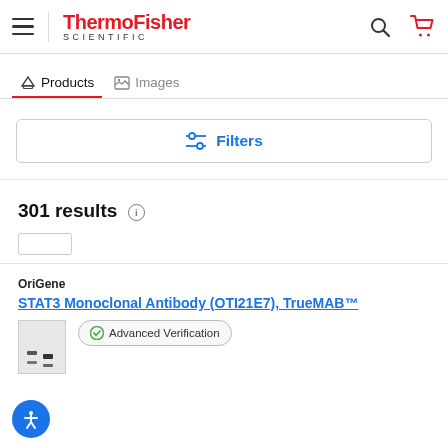ThermoFisher SCIENTIFIC
Products | Images
Filters
301 results
OriGene
STAT3 Monoclonal Antibody (OTI21E7), TrueMAB™
Advanced Verification